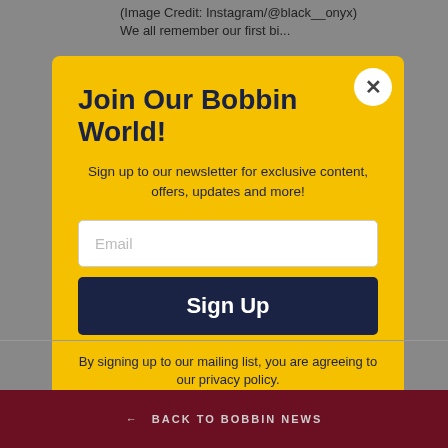(Image Credit: Instagram/@black__onyx) We all remember our first bi...
Join Our Bobbin World!
Sign up to our newsletter for exclusive content, offers, updates and more!
Email
Sign Up
By signing up to our mailing list, you are agreeing to our privacy policy.
← BACK TO BOBBIN NEWS